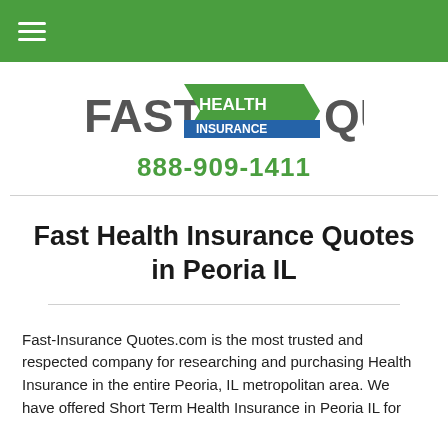[Figure (logo): Fast Health Insurance Quotes logo with green arrow badge]
888-909-1411
Fast Health Insurance Quotes in Peoria IL
Fast-Insurance Quotes.com is the most trusted and respected company for researching and purchasing Health Insurance in the entire Peoria, IL metropolitan area. We have offered Short Term Health Insurance in Peoria IL for